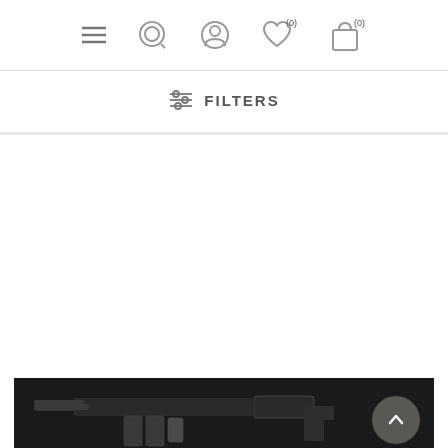[Figure (screenshot): Navigation bar with hamburger menu icon, search icon, user/account icon, heart/wishlist icon with (0) badge, and shopping bag icon with (0) badge]
[Figure (infographic): Filters button with sliders icon and text FILTERS]
PISTOLS
[Figure (photo): Dark photo of a pistol/firearm with accessories on a black background]